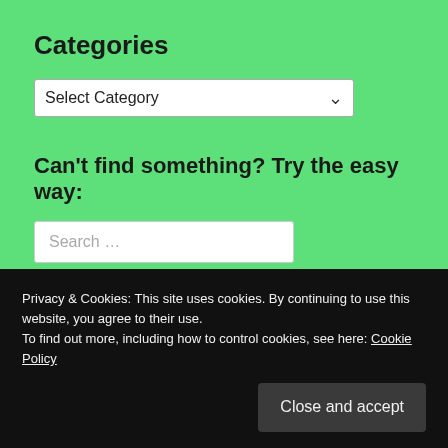Categories
[Figure (screenshot): A dropdown select box with label 'Select Category' and a chevron arrow on the right]
Can't find something? Try the easy way:
[Figure (screenshot): A search input box with placeholder text 'Search …']
Need a reminder of the next bookish coffee break?
Privacy & Cookies: This site uses cookies. By continuing to use this website, you agree to their use.
To find out more, including how to control cookies, see here: Cookie Policy
Close and accept